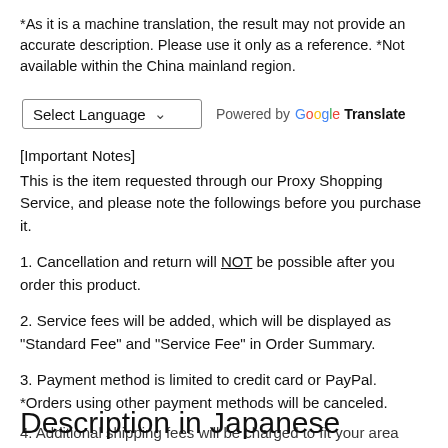*As it is a machine translation, the result may not provide an accurate description. Please use it only as a reference. *Not available within the China mainland region.
[Figure (other): Google Translate language selector widget: a dropdown labeled 'Select Language' with a chevron, followed by 'Powered by Google Translate' text with Google logo coloring.]
[Important Notes]
This is the item requested through our Proxy Shopping Service, and please note the followings before you purchase it.
1. Cancellation and return will NOT be possible after you order this product.
2. Service fees will be added, which will be displayed as "Standard Fee" and "Service Fee" in Order Summary.
3. Payment method is limited to credit card or PayPal.
*Orders using other payment methods will be canceled.
4. Additional shipping fees will be...
Description in Japanese